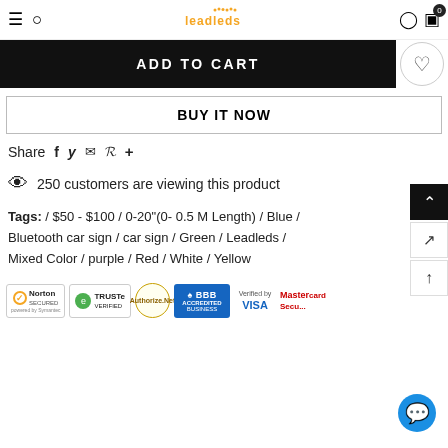Leadleds store navigation with search, logo, user, and cart icons
ADD TO CART
BUY IT NOW
Share  f  y  ✉  ℘  +
250 customers are viewing this product
Tags: / $50 - $100 / 0-20"(0- 0.5 M Length) / Blue / Bluetooth car sign / car sign / Green / Leadleds / Mixed Color / purple / Red / White / Yellow
[Figure (logo): Trust badges: Norton Secured by Symantec, TRUSTe Verified, Authorize.net, BBB Accredited Business, Verified by VISA, MasterCard SecureCode]